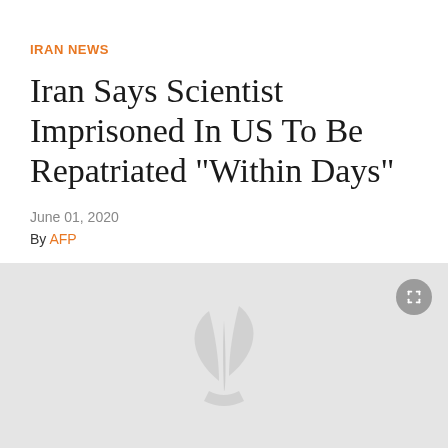IRAN NEWS
Iran Says Scientist Imprisoned In US To Be Repatriated "Within Days"
June 01, 2020
By AFP
[Figure (illustration): Light gray placeholder image area with a watermark logo (stylized leaf/plant design) centered, and an expand icon button in the top-right corner]